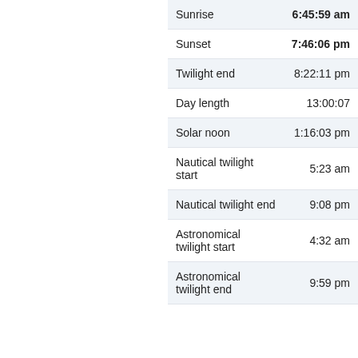|  |  |
| --- | --- |
| Sunrise | 6:45:59 am |
| Sunset | 7:46:06 pm |
| Twilight end | 8:22:11 pm |
| Day length | 13:00:07 |
| Solar noon | 1:16:03 pm |
| Nautical twilight start | 5:23 am |
| Nautical twilight end | 9:08 pm |
| Astronomical twilight start | 4:32 am |
| Astronomical twilight end | 9:59 pm |
Wed Sep 14